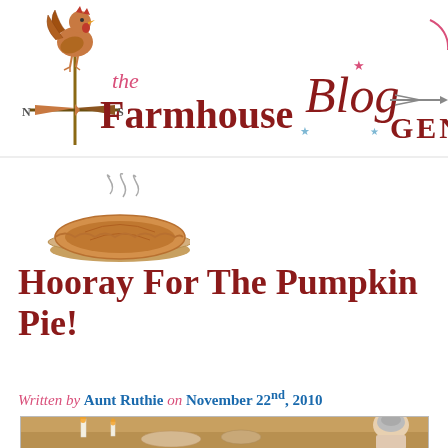[Figure (logo): The Farmhouse blog logo with weathervane rooster and navigation including Blog and GENE sections]
[Figure (illustration): Steaming pumpkin pie illustration]
Hooray For The Pumpkin Pie!
Written by Aunt Ruthie on November 22nd, 2010
[Figure (photo): Photo of a woman at a table with candles and dishes]